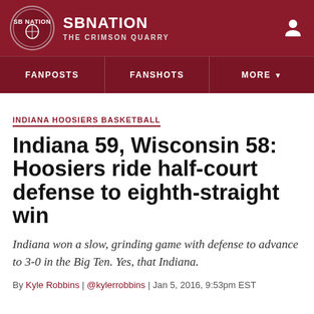SB NATION — THE CRIMSON QUARRY
FANPOSTS | FANSHOTS | MORE
INDIANA HOOSIERS BASKETBALL
Indiana 59, Wisconsin 58: Hoosiers ride half-court defense to eighth-straight win
Indiana won a slow, grinding game with defense to advance to 3-0 in the Big Ten. Yes, that Indiana.
By Kyle Robbins | @kylerrobbins | Jan 5, 2016, 9:53pm EST